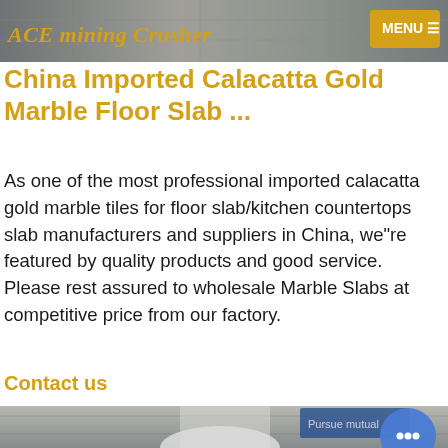ACE mining Crusher
China Imported Calacatta Gold Marble Floor Slab ...
As one of the most professional imported calacatta gold marble tiles for floor slab/kitchen countertops slab manufacturers and suppliers in China, we"re featured by quality products and good service. Please rest assured to wholesale Marble Slabs at competitive price from our factory.
Contact us
[Figure (photo): Factory interior showing industrial crushing/grinding machinery (white cone-shaped mill), steel structural beams, and Chinese signage banners in blue and red reading 'pursue mutual'.]